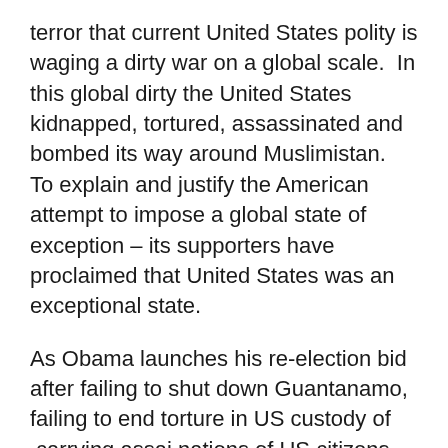terror that current United States polity is waging a dirty war on a global scale.  In this global dirty the United States kidnapped, tortured, assassinated and bombed its way around Muslimistan.  To explain and justify the American attempt to impose a global state of exception – its supporters have proclaimed that United States was an exceptional state.
As Obama launches his re-election bid after failing to shut down Guantanamo, failing to end torture in US custody of  carrying assai nations of US citizens, of intensifying drone attacks on people of Afghanistan and Pakistan, it becomes more difficult to sustain the belief that some had that Bush administration was a just a rogue